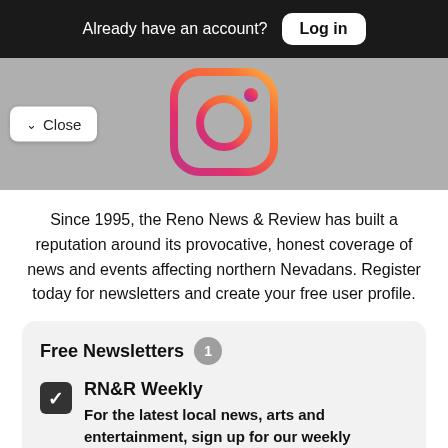Already have an account? Log in
[Figure (logo): Instagram camera icon logo with gradient from red/orange to pink/purple]
Close
Since 1995, the Reno News & Review has built a reputation around its provocative, honest coverage of news and events affecting northern Nevadans. Register today for newsletters and create your free user profile.
Free Newsletters 1
RN&R Weekly
For the latest local news, arts and entertainment, sign up for our weekly newsletter. We'll tell you the